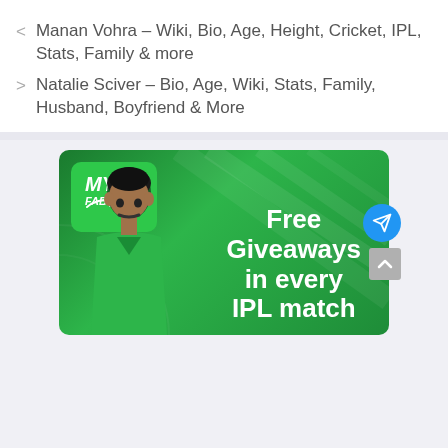< Manan Vohra – Wiki, Bio, Age, Height, Cricket, IPL, Stats, Family & more
> Natalie Sciver – Bio, Age, Wiki, Stats, Family, Husband, Boyfriend & More
[Figure (screenshot): MyFab11 advertisement banner with green background showing a cricket player and text 'Free Giveaways in every IPL match'. Features MyFab11 logo in top-left, a Telegram share button circle (blue) and a scroll-up button on the right side.]